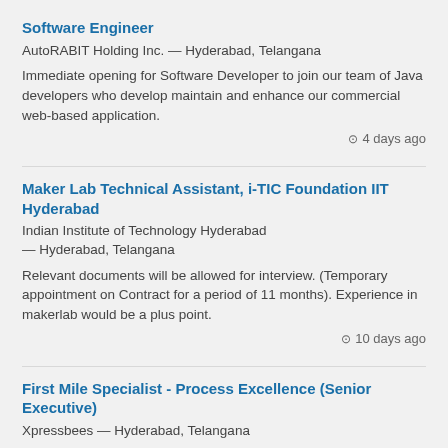Software Engineer
AutoRABIT Holding Inc. — Hyderabad, Telangana
Immediate opening for Software Developer to join our team of Java developers who develop maintain and enhance our commercial web-based application.
4 days ago
Maker Lab Technical Assistant, i-TIC Foundation IIT Hyderabad
Indian Institute of Technology Hyderabad — Hyderabad, Telangana
Relevant documents will be allowed for interview. (Temporary appointment on Contract for a period of 11 months). Experience in makerlab would be a plus point.
10 days ago
First Mile Specialist - Process Excellence (Senior Executive)
Xpressbees — Hyderabad, Telangana
2-3 minimum experience in operations or process improvement roles preferably in Automobile, Logistics or